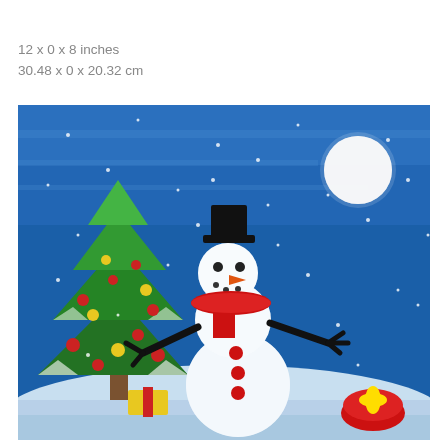12 x 0 x 8 inches
30.48 x 0 x 20.32 cm
[Figure (illustration): A painted artwork showing a snowman wearing a black top hat and red scarf with black buttons, standing next to a decorated Christmas tree with red and yellow ornaments. The background is a blue snowy night sky with white snowflakes and a full moon in the upper right. There are gifts/presents at the bottom.]